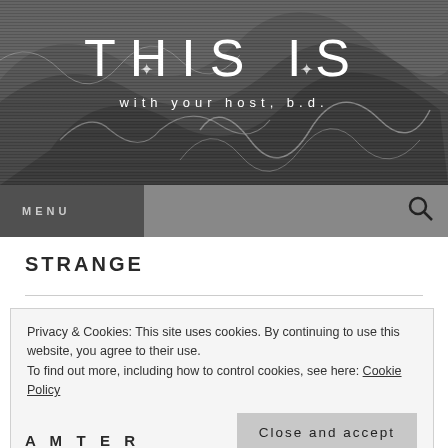[Figure (illustration): Dark monochrome abstract art / collage background with scanline texture overlaid]
THIS IS
with your host, b.d.
MENU
STRANGE
Privacy & Cookies: This site uses cookies. By continuing to use this website, you agree to their use.
To find out more, including how to control cookies, see here: Cookie Policy
Close and accept